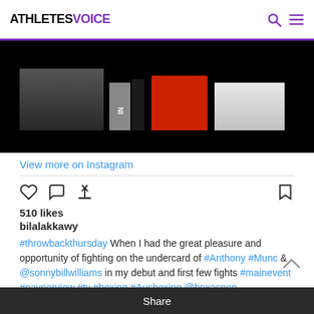ATHLETESVOICE
[Figure (photo): Boxing event photo showing fighters/equipment with red and white elements against a dark background]
View more on Instagram
510 likes
bilalakkawy
#throwbackthursday When I had the great pleasure and opportunity of fighting on the undercard of #Anthony #Munq & @sonnybillwilliams in my debut and first few fights #mainevent #payperview #tv #boxing #Ausboxing @boxasnop @quadecooper
view all comments
Share